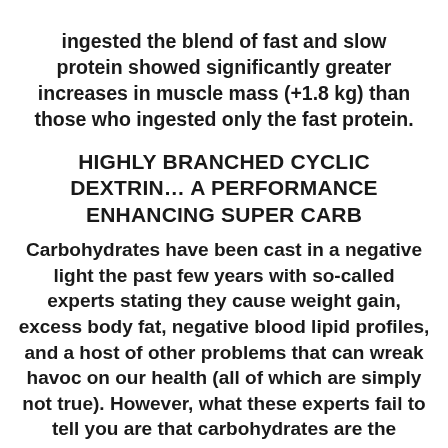ingested the blend of fast and slow protein showed significantly greater increases in muscle mass (+1.8 kg) than those who ingested only the fast protein.
HIGHLY BRANCHED CYCLIC DEXTRIN… A PERFORMANCE ENHANCING SUPER CARB
Carbohydrates have been cast in a negative light the past few years with so-called experts stating they cause weight gain, excess body fat, negative blood lipid profiles, and a host of other problems that can wreak havoc on our health (all of which are simply not true). However, what these experts fail to tell you are that carbohydrates are the preferred source of fuel during anaerobic exercise, such as sprinting or weight lifting. Adequate carbohydrate consumption, broken down into glucose in the bloodstream or stored in muscle tissue as glycogen, ensures you have the stamina to power through your workouts without